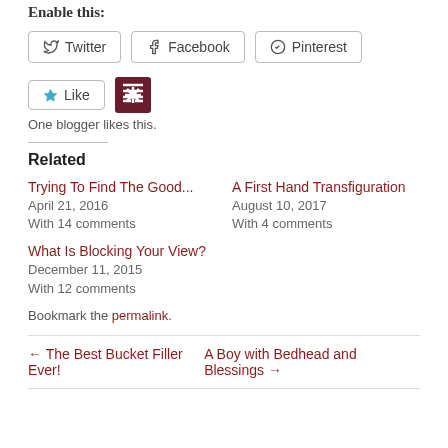Enable this:
Twitter  Facebook  Pinterest
Like  [blogger avatar icon]
One blogger likes this.
Related
Trying To Find The Good...
April 21, 2016
With 14 comments
A First Hand Transfiguration
August 10, 2017
With 4 comments
What Is Blocking Your View?
December 11, 2015
With 12 comments
Bookmark the permalink.
← The Best Bucket Filler Ever!    A Boy with Bedhead and Blessings →